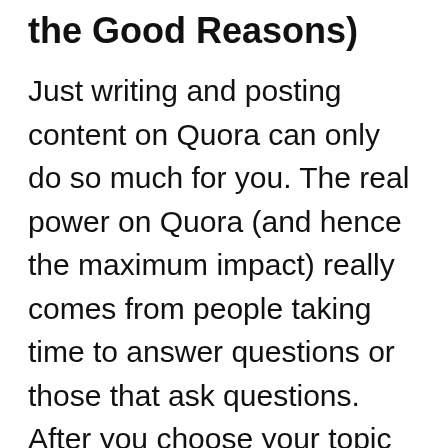the Good Reasons)
Just writing and posting content on Quora can only do so much for you. The real power on Quora (and hence the maximum impact) really comes from people taking time to answer questions or those that ask questions. After you choose your topic clusters, be sure to also follow authors who